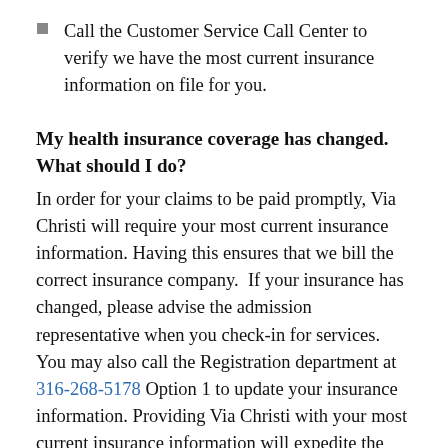Call the Customer Service Call Center to verify we have the most current insurance information on file for you.
My health insurance coverage has changed. What should I do?
In order for your claims to be paid promptly, Via Christi will require your most current insurance information. Having this ensures that we bill the correct insurance company. If your insurance has changed, please advise the admission representative when you check-in for services. You may also call the Registration department at 316-268-5178 Option 1 to update your insurance information. Providing Via Christi with your most current insurance information will expedite the processing and payment of your claims.